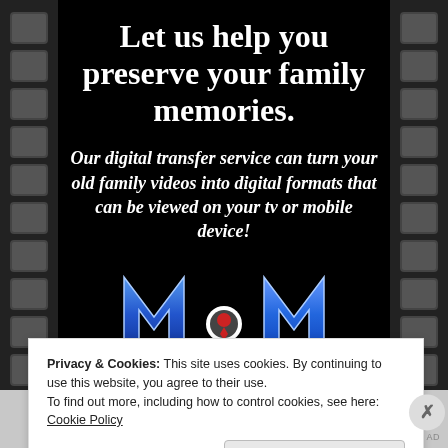[Figure (illustration): Advertisement with film strip border on dark background. Large white bold serif text reads 'Let us help you preserve your family memories.' followed by italic white text 'Our digital transfer service can turn your old family videos into digital formats that can be viewed on your tv or mobile device!' Below is a blue M&M logo.]
Privacy & Cookies: This site uses cookies. By continuing to use this website, you agree to their use.
To find out more, including how to control cookies, see here: Cookie Policy
Close and accept